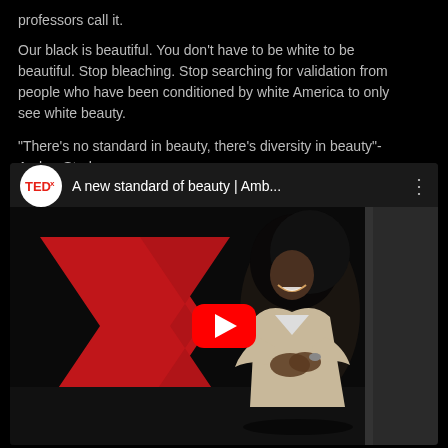professors call it.
Our black is beautiful. You don't have to be white to be beautiful. Stop bleaching. Stop searching for validation from people who have been conditioned by white America to only see white beauty.
"There's no standard in beauty, there's diversity in beauty"-Amber Starks
[Figure (screenshot): YouTube video embed showing a TEDx talk titled 'A new standard of beauty | Amb...' with a thumbnail image of a Black woman with natural hair smiling on a TEDx stage, overlaid with a red YouTube play button.]